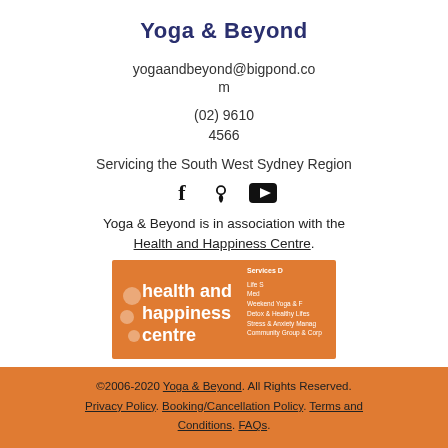Yoga & Beyond
yogaandbeyond@bigpond.com
(02) 9610 4566
Servicing the South West Sydney Region
[Figure (illustration): Social media icons: Facebook, Google Maps pin, YouTube]
Yoga & Beyond is in association with the Health and Happiness Centre.
[Figure (logo): Health and Happiness Centre logo on orange background with services listed on right side]
©2006-2020 Yoga & Beyond. All Rights Reserved. Privacy Policy. Booking/Cancellation Policy. Terms and Conditions. FAQs.